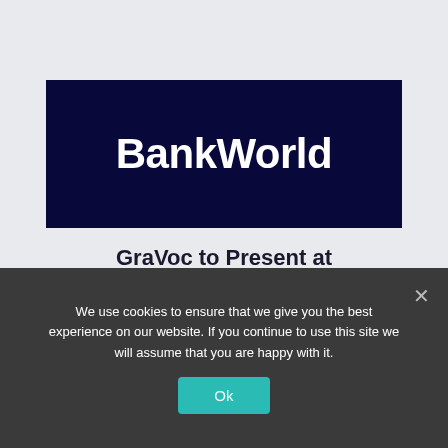[Figure (logo): BankWorld logo — white bold text on dark navy background]
GraVoc to Present at BankWorld 2022
GraVoc's Nate Gravel and Mike Kannan will be presenting at this year's BankWorld on the
We use cookies to ensure that we give you the best experience on our website. If you continue to use this site we will assume that you are happy with it.